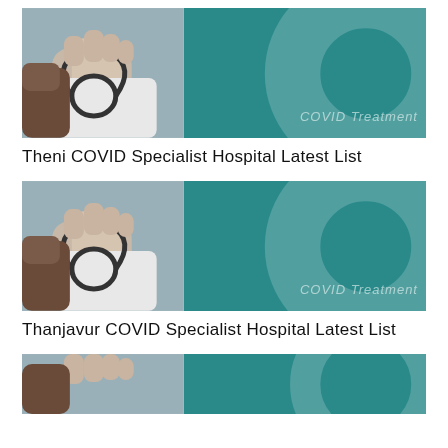[Figure (photo): COVID Treatment thumbnail image showing a hand with stethoscope on the left (gray-blue photo) and teal background with 'COVID Treatment' text on the right. First card for Theni COVID Specialist Hospital.]
Theni COVID Specialist Hospital Latest List
[Figure (photo): COVID Treatment thumbnail image showing a hand with stethoscope on the left (gray-blue photo) and teal background with 'COVID Treatment' text on the right. Second card for Thanjavur COVID Specialist Hospital.]
Thanjavur COVID Specialist Hospital Latest List
[Figure (photo): COVID Treatment thumbnail image showing a hand with stethoscope on the left (gray-blue photo) and teal background. Third card, partially visible at bottom of page.]